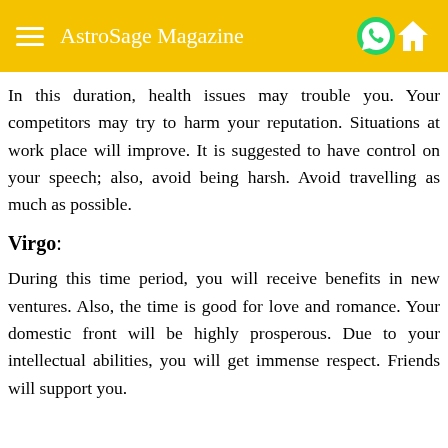AstroSage Magazine
In this duration, health issues may trouble you. Your competitors may try to harm your reputation. Situations at work place will improve. It is suggested to have control on your speech; also, avoid being harsh. Avoid travelling as much as possible.
Virgo:
During this time period, you will receive benefits in new ventures. Also, the time is good for love and romance. Your domestic front will be highly prosperous. Due to your intellectual abilities, you will get immense respect. Friends will support you.